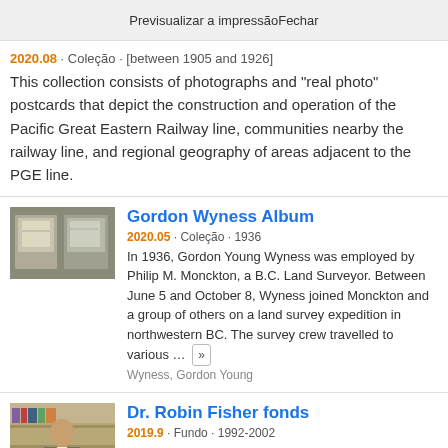Previsualizar a impressão  Fechar
2020.08 · Coleção · [between 1905 and 1926]
This collection consists of photographs and "real photo" postcards that depict the construction and operation of the Pacific Great Eastern Railway line, communities nearby the railway line, and regional geography of areas adjacent to the PGE line.
[Figure (photo): Thumbnail image showing two historical photographs side by side on a grey background]
Gordon Wyness Album
2020.05 · Coleção · 1936
In 1936, Gordon Young Wyness was employed by Philip M. Monckton, a B.C. Land Surveyor. Between June 5 and October 8, Wyness joined Monckton and a group of others on a land survey expedition in northwestern BC. The survey crew travelled to various … »
Wyness, Gordon Young
[Figure (photo): Portrait photo of Dr. Robin Fisher, a man in a suit standing in front of bookshelves]
Dr. Robin Fisher fonds
2019.9 · Fundo · 1992-2002
This fonds encompasses the academic and administrative career of esteemed Canadian historian Dr. Robin Fisher during his tenure at the University of Northern British Columbia. The records span Dr.